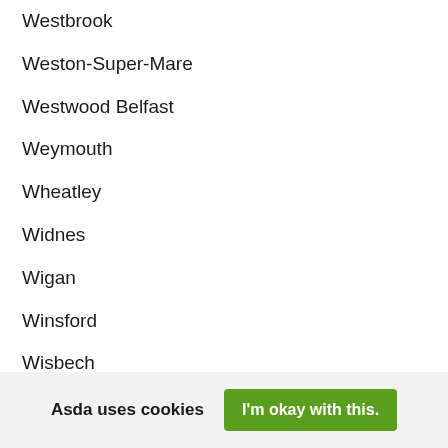Westbrook
Weston-Super-Mare
Westwood Belfast
Weymouth
Wheatley
Widnes
Wigan
Winsford
Wisbech
Woking Sheerwater
Asda uses cookies
I'm okay with this.